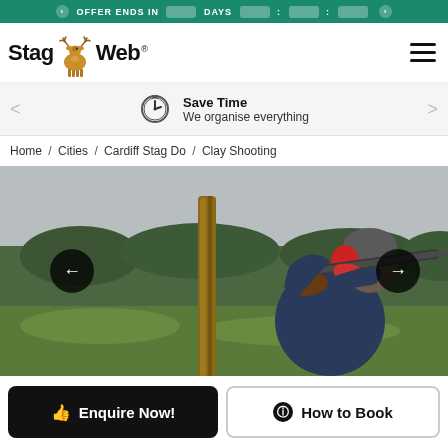OFFER ENDS IN [DAYS] [HH] [MM] [SS]
[Figure (logo): StagWeb logo with stag deer icon and text 'Stag Web']
Save Time
We organise everything
Home / Cities / Cardiff Stag Do / Clay Shooting
[Figure (photo): Man in blue jacket and red ear defenders aiming a shotgun at a clay pigeon shooting range, with a wooden post and green hedgerow in the background, overcast sky.]
Enquire Now!
How to Book